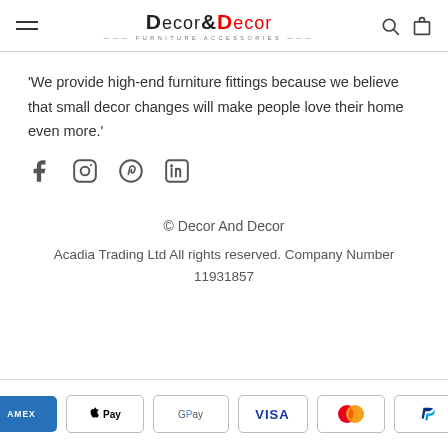Decor&Decor — Furniture Accessories (navigation header with logo, search, and cart icons)
'We provide high-end furniture fittings because we believe that small decor changes will make people love their home even more.'
[Figure (infographic): Social media icons: Facebook, Instagram, Pinterest, LinkedIn]
© Decor And Decor
Acadia Trading Ltd All rights reserved. Company Number 11931857
[Figure (infographic): Payment method icons: American Express, Apple Pay, Google Pay, Visa, Mastercard, PayPal]